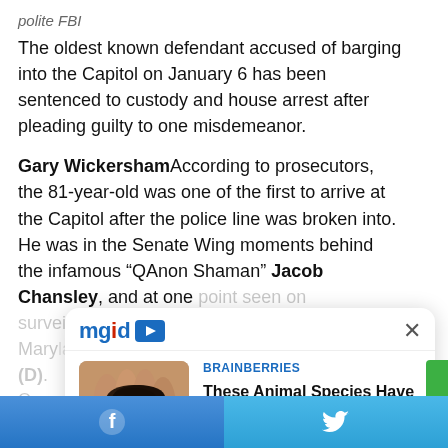polite FBI
The oldest known defendant accused of barging into the Capitol on January 6 has been sentenced to custody and house arrest after pleading guilty to one misdemeanor.
Gary WickershamAccording to prosecutors, the 81-year-old was one of the first to arrive at the Capitol after the police line was broken into. He was in the Senate Wing moments behind the infamous “QAnon Shaman” Jacob Chansley, and at one point seen on surveillance video in a busy hallway outside Maryland Representative’s office. Steny Hoyer (D).
[Figure (screenshot): mgid advertisement popup overlay showing BRAINBERRIES article: 'These Animal Species Have Created Their Pharmacies' with thumbnail image of dark slug on a hand, close button (x), and mgid logo]
Facebook share button | Twitter share button